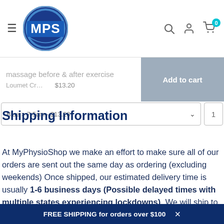[Figure (logo): MPS (MyPhysioShop) circular logo with blue circle and white MPS letters on blue shield]
massage before & after exercise
Loumet Cr... $13.20
Add to cart
Blue > 7.5cm - $13.20
Shipping Information
At MyPhysioShop we make an effort to make sure all of our orders are sent out the same day as ordering (excluding weekends) Once shipped, our estimated delivery time is usually 1-6 business days (Possible delayed times with multiple states experiencing lockdowns). We will ship to
FREE SHIPPING for orders over $100